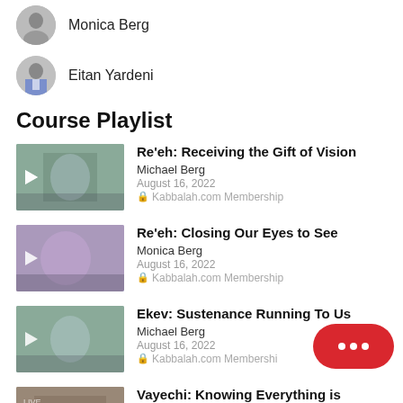Monica Berg
Eitan Yardeni
Course Playlist
Re'eh: Receiving the Gift of Vision | Michael Berg | August 16, 2022 | Kabbalah.com Membership
Re'eh: Closing Our Eyes to See | Monica Berg | August 16, 2022 | Kabbalah.com Membership
Ekev: Sustenance Running To Us | Michael Berg | August 16, 2022 | Kabbalah.com Membership
Vayechi: Knowing Everything is